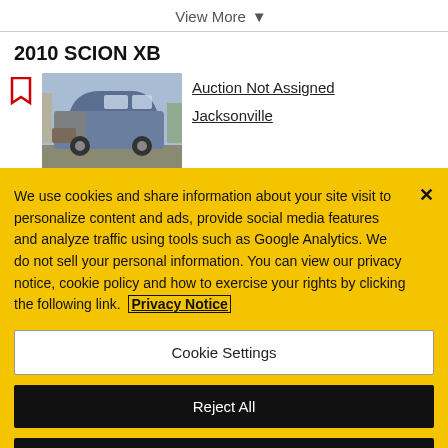View More
2010 SCION XB
[Figure (photo): Photo of a blue 2010 Scion XB with front-end damage, parked in a lot]
Auction Not Assigned
Jacksonville
We use cookies and share information about your site visit to personalize content and ads, provide social media features and analyze traffic using tools such as Google Analytics. We do not sell your personal information. You can view our privacy notice, cookie policy and how to exercise your rights by clicking the following link. Privacy Notice
Cookie Settings
Reject All
Accept Cookies